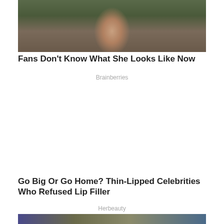[Figure (photo): Woman with brown hair wearing a dark grey coat with a brooch, outdoors in a natural setting]
Fans Don't Know What She Looks Like Now
Brainberries
[Figure (other): Advertisement block (blank)]
Go Big Or Go Home? Thin-Lipped Celebrities Who Refused Lip Filler
Herbeauty
[Figure (photo): Partial photo at bottom of page, showing colorful figures]